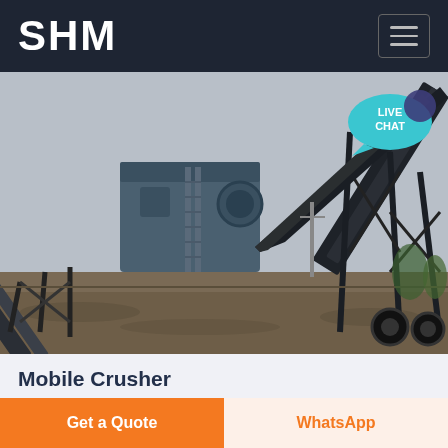SHM
[Figure (photo): Outdoor photo of a large mobile crushing and screening plant with conveyor belts on steel frame structures, set on a dirt/gravel field under an overcast sky.]
Mobile Crusher
Crawler Mobile crushing screening Plant is of high cost performance reliable beautiful
Get a Quote
WhatsApp